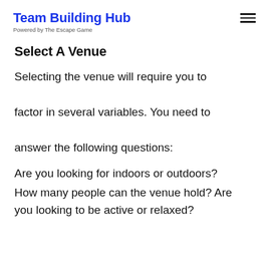Team Building Hub
Powered by The Escape Game
Select A Venue
Selecting the venue will require you to factor in several variables. You need to answer the following questions:
Are you looking for indoors or outdoors?
How many people can the venue hold? Are you looking to be active or relaxed?